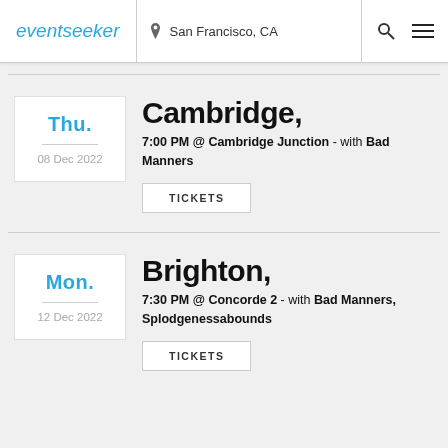eventseeker | San Francisco, CA
Thu. | 08 Dec 2022 | Cambridge, | 7:00 PM @ Cambridge Junction - with Bad Manners | TICKETS
Mon. | 12 Dec 2022 | Brighton, | 7:30 PM @ Concorde 2 - with Bad Manners, Splodgenessabounds | TICKETS